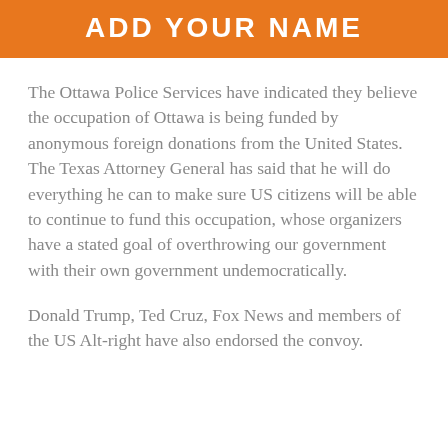ADD YOUR NAME
The Ottawa Police Services have indicated they believe the occupation of Ottawa is being funded by anonymous foreign donations from the United States. The Texas Attorney General has said that he will do everything he can to make sure US citizens will be able to continue to fund this occupation, whose organizers have a stated goal of overthrowing our government with their own government undemocratically.
Donald Trump, Ted Cruz, Fox News and members of the US Alt-right have also endorsed the convoy.